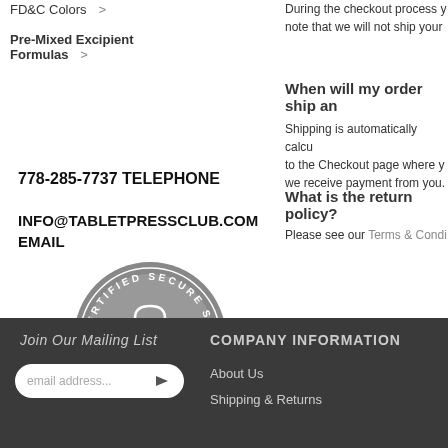FD&C Colors >
Pre-Mixed Excipient Formulas >
During the checkout process you note that we will not ship your
When will my order ship an
Shipping is automatically calcu to the Checkout page where y we receive payment from you.
What is the return policy?
Please see our Terms & Condi
778-285-7737 TELEPHONE
INFO@TABLETPRESSCLUB.COM EMAIL
[Figure (logo): Certified Secure Site SSL Volusion badge - circular grey badge with padlock and SSL text]
[Figure (logo): VISA and MasterCard payment icons]
Join Our Mailing List
email address...
COMPANY INFORMATION
About Us
Shipping & Returns